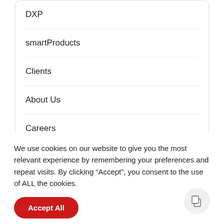DXP
smartProducts
Clients
About Us
Careers
Categories
We use cookies on our website to give you the most relevant experience by remembering your preferences and repeat visits. By clicking “Accept”, you consent to the use of ALL the cookies.
Accept All